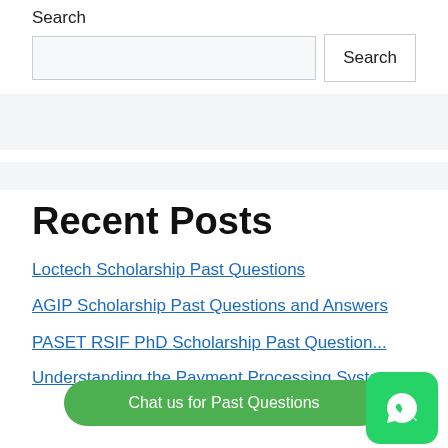Search
[Figure (screenshot): Search input box with Search button]
Recent Posts
Loctech Scholarship Past Questions
AGIP Scholarship Past Questions and Answers
PASET RSIF PhD Scholarship Past Questions
Understanding the Payment Processing System
Chat us for Past Questions